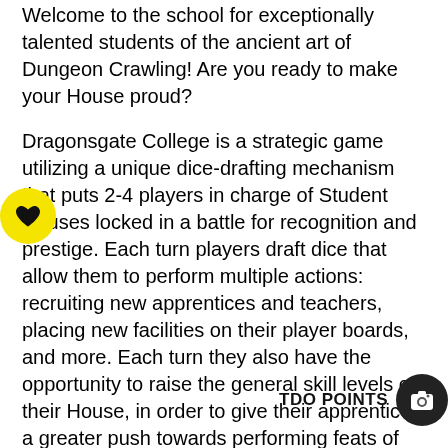Welcome to the school for exceptionally talented students of the ancient art of Dungeon Crawling! Are you ready to make your House proud?
Dragonsgate College is a strategic game utilizing a unique dice-drafting mechanism that puts 2-4 players in charge of Student Houses locked in a battle for recognition and prestige. Each turn players draft dice that allow them to perform multiple actions: recruiting new apprentices and teachers, placing new facilities on their player boards, and more. Each turn they also have the opportunity to raise the general skill levels of their House, in order to give their apprentices a greater push towards performing feats of bravery and cunning.
Constructing student facilities, hiring seasoned adventurers as teachers, dabbling in the arcane arts of wizardry and subterfuge, and cleverly outmaneuvering your opponents – all this awaits you within the walls of [Dragonsgate]. Prove your worth, and maybe you will even get a tenure!